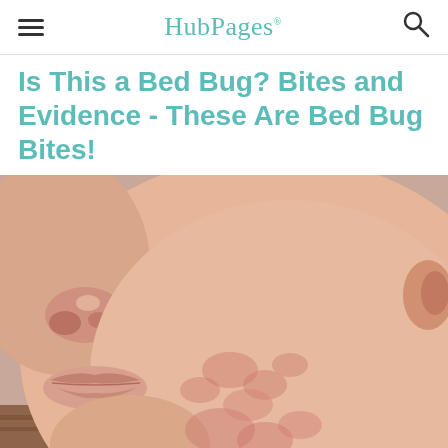HubPages
Is This a Bed Bug? Bites and Evidence - These Are Bed Bug Bites!
[Figure (photo): Close-up photograph of a person's face (jaw and cheek area) showing reddish bed bug bite marks/rash on the skin. The bites appear as red, slightly raised welts on the cheek.]